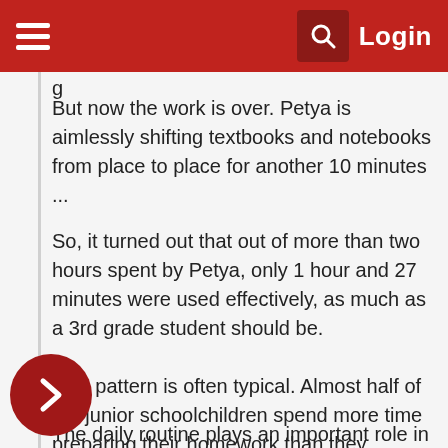Login
g
But now the work is over. Petya is aimlessly shifting textbooks and notebooks from place to place for another 10 minutes ...
So, it turned out that out of more than two hours spent by Petya, only 1 hour and 27 minutes were used effectively, as much as a 3rd grade student should be.
This pattern is often typical. Almost half of the junior schoolchildren spend more time preparing their homework than they should.
What advice can you give to parents if their child is unable “t” for lessons?
The daily routine plays an important role in the